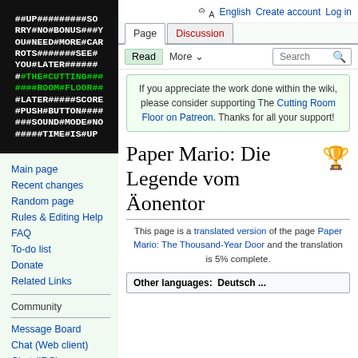[Figure (logo): The Cutting Room Floor wiki logo - black background with white and green monospace ASCII-art text]
Main page
Recent changes
Random page
Rules & Editing Help
FAQ
To-do list
Donate
Related Links
Community
Message Board
Chat (Web client)
Chat (IRC)
Discord
English  Create account  Log in
If you appreciate the work done within the wiki, please consider supporting The Cutting Room Floor on Patreon. Thanks for all your support!
Paper Mario: Die Legende vom Äonentor
This page is a translated version of the page Paper Mario: The Thousand-Year Door and the translation is 5% complete.
Other languages: Deutsch ...